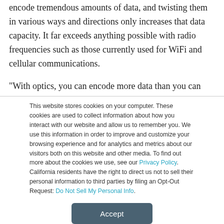encode tremendous amounts of data, and twisting them in various ways and directions only increases that data capacity. It far exceeds anything possible with radio frequencies such as those currently used for WiFi and cellular communications.
“With optics, you can encode more data than you can with radio waves,” noted Willner.
This website stores cookies on your computer. These cookies are used to collect information about how you interact with our website and allow us to remember you. We use this information in order to improve and customize your browsing experience and for analytics and metrics about our visitors both on this website and other media. To find out more about the cookies we use, see our Privacy Policy. California residents have the right to direct us not to sell their personal information to third parties by filing an Opt-Out Request: Do Not Sell My Personal Info.